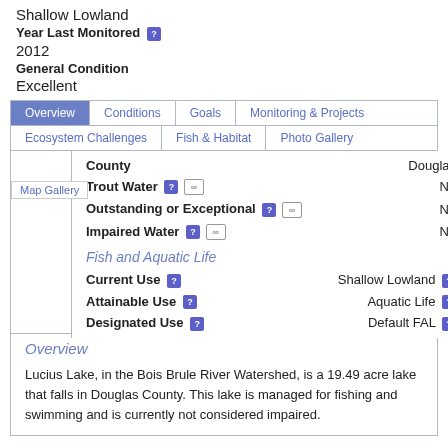Shallow Lowland
Year Last Monitored
2012
General Condition
Excellent
| Field | Value |
| --- | --- |
| County | Douglas |
| Trout Water | No |
| Outstanding or Exceptional | No |
| Impaired Water | No |
Fish and Aquatic Life
| Field | Value |
| --- | --- |
| Current Use | Shallow Lowland |
| Attainable Use | Aquatic Life |
| Designated Use | Default FAL |
Overview
Lucius Lake, in the Bois Brule River Watershed, is a 19.49 acre lake that falls in Douglas County. This lake is managed for fishing and swimming and is currently not considered impaired.